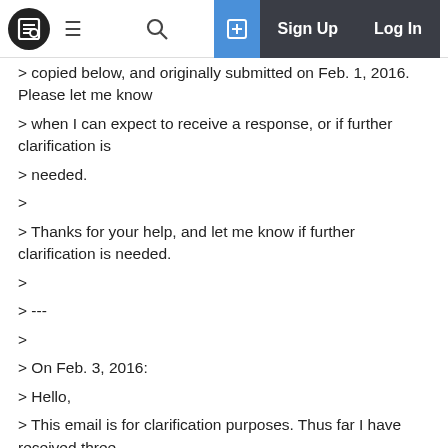Sign Up  Log In
> copied below, and originally submitted on Feb. 1, 2016. Please let me know
> when I can expect to receive a response, or if further clarification is
> needed.
>
> Thanks for your help, and let me know if further clarification is needed.
>
> ---
>
> On Feb. 3, 2016:
> Hello,
> This email is for clarification purposes. Thus far I have received three
> separate emails requesting copies (please confirm) of complaints,